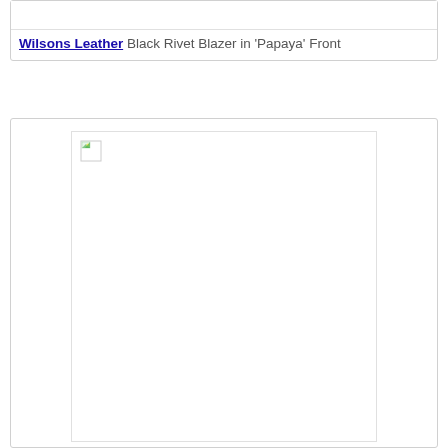[Figure (photo): Top card with empty white image area showing a product placeholder]
Wilsons Leather Black Rivet Blazer in 'Papaya' Front
[Figure (photo): Bottom card with large empty white image area with broken image icon in top left corner, showing a product image placeholder for a leather blazer]